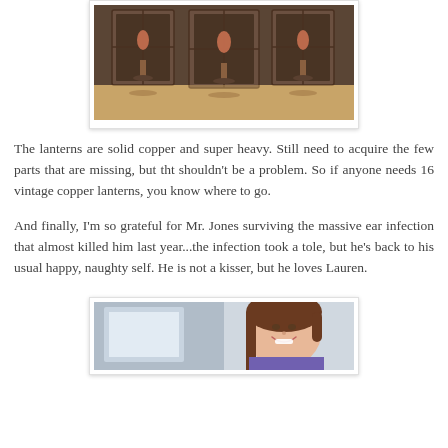[Figure (photo): Photo of vintage copper lanterns on a wooden surface, shown in a white bordered frame]
The lanterns are solid copper and super heavy. Still need to acquire the few parts that are missing, but tht shouldn't be a problem. So if anyone needs 16 vintage copper lanterns, you know where to go.
And finally, I'm so grateful for Mr. Jones surviving the massive ear infection that almost killed him last year...the infection took a tole, but he's back to his usual happy, naughty self. He is not a kisser, but he loves Lauren.
[Figure (photo): Photo of a smiling young woman with brown hair wearing a purple top]